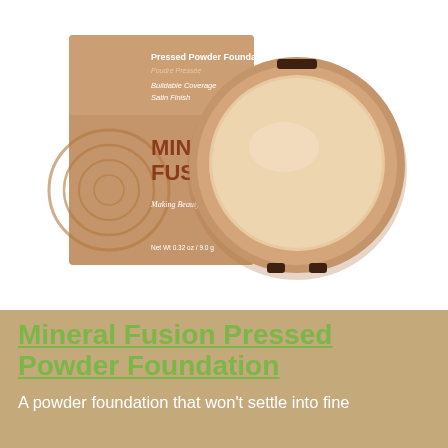[Figure (photo): Mineral Fusion Pressed Powder Foundation product photo showing the box packaging and an open compact with powder. The box is rose-gold/copper colored with the Mineral Fusion logo and text reading 'Pressed Powder Foundation', 'Poudre Pressée', 'Buildable Coverage', 'Satin Finish', 'Making Beauty Healthy', 'Net Wt 0.32 oz / 9.0 g'. The compact is open showing a round beige/nude pressed powder.]
Mineral Fusion Pressed Powder Foundation
A powder foundation that won't settle into fine